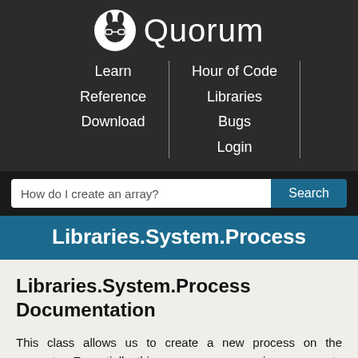[Figure (logo): Quorum programming language logo: white rabbit icon with glasses on dark background, with text 'Quorum']
Learn
Reference
Download
Hour of Code
Libraries
Bugs
Login
How do I create an array?
Libraries.System.Process
Libraries.System.Process Documentation
This class allows us to create a new process on the computer. Essentially, this causes a new running program to be created with its own memory space. We can specify the parameters to be sent to the process